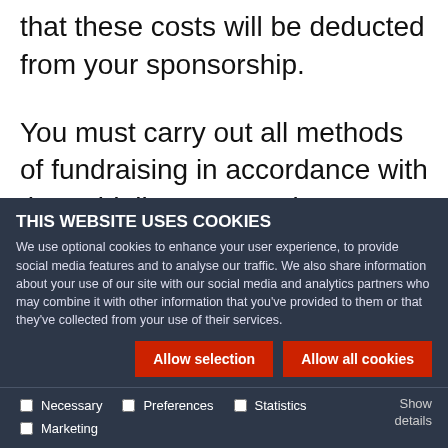that these costs will be deducted from your sponsorship.
You must carry out all methods of fundraising in accordance with the guidelines set out in MS Ireland's fundraising procedures. You are fully responsible for all fundraising events that you carry out and MS Ireland does not take any responsibility for them.
THIS WEBSITE USES COOKIES
We use optional cookies to enhance your user experience, to provide social media features and to analyse our traffic. We also share information about your use of our site with our social media and analytics partners who may combine it with other information that you've provided to them or that they've collected from your use of their services.
Allow selection | Allow all cookies
Necessary | Preferences | Statistics | Marketing | Show details